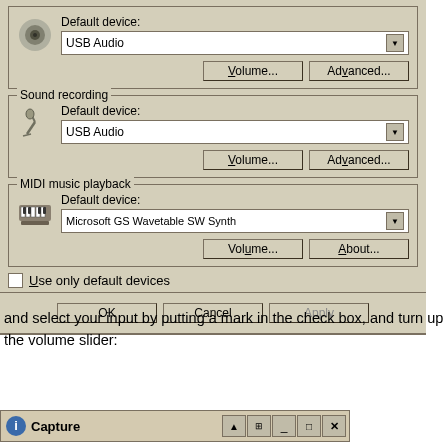[Figure (screenshot): Windows Sound and Audio Devices properties dialog showing Default device dropdowns for audio playback (USB Audio), sound recording (USB Audio), and MIDI music playback (Microsoft GS Wavetable SW Synth), with Volume/Advanced/About buttons and Use only default devices checkbox, plus OK/Cancel/Apply buttons at bottom.]
and select your input by putting a mark in the check box, and turn up the volume slider:
[Figure (screenshot): Windows taskbar showing a Capture window with title bar buttons (arrow, grid, minimize, maximize, close).]